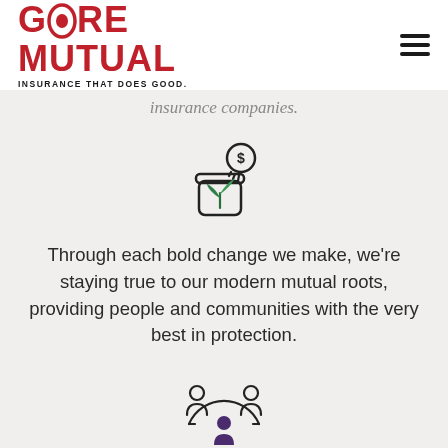[Figure (logo): Gore Mutual Insurance logo — red bold text reading GORE MUTUAL with tagline INSURANCE THAT DOES GOOD.]
Insurance companies.
[Figure (illustration): Icon of a jar with a plant growing and a coin dropping in — savings/growth illustration]
Through each bold change we make, we're staying true to our modern mutual roots, providing people and communities with the very best in protection.
[Figure (illustration): Icon of three people figures in a circular arrangement — community/network illustration]